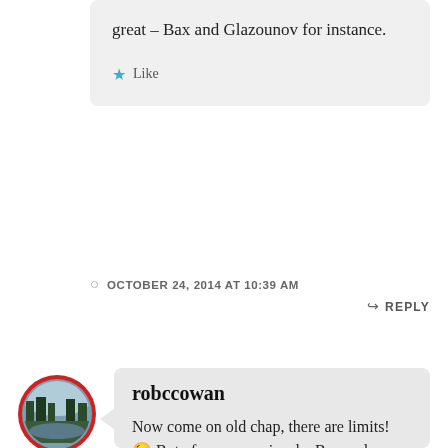great – Bax and Glazounov for instance.
Like
OCTOBER 24, 2014 AT 10:39 AM
REPLY
[Figure (photo): Circular avatar photo of a person or scene (trees/landscape), surrounded by a red circular border]
robccowan
Now come on old chap, there are limits! 😉 But of course, seriously, Bax and Glazzers are exactly the sortd of